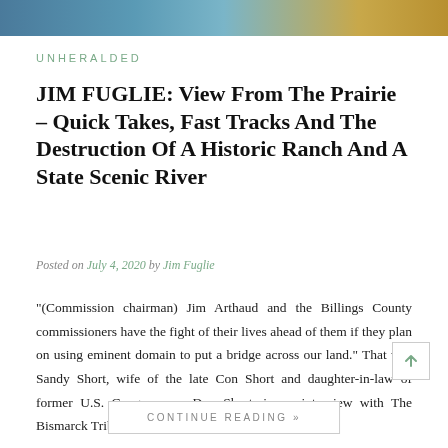[Figure (photo): Landscape banner image showing prairie/water scene with blue sky and golden grasses]
UNHERALDED
JIM FUGLIE: View From The Prairie – Quick Takes, Fast Tracks And The Destruction Of A Historic Ranch And A State Scenic River
Posted on July 4, 2020 by Jim Fuglie
"(Commission chairman) Jim Arthaud and the Billings County commissioners have the fight of their lives ahead of them if they plan on using eminent domain to put a bridge across our land." That was Sandy Short, wife of the late Con Short and daughter-in-law of former U.S. Congressman Don Short, in an interview with The Bismarck Tribune three years ago. …
CONTINUE READING »